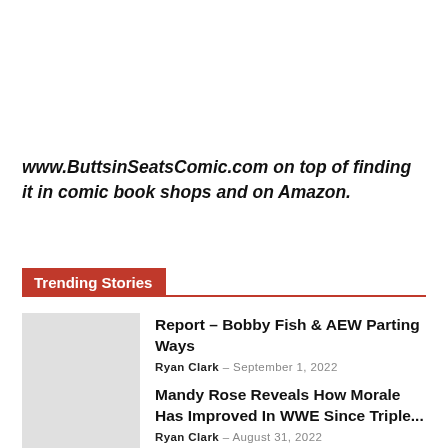www.ButtsinSeatsComic.com on top of finding it in comic book shops and on Amazon.
Trending Stories
Report – Bobby Fish & AEW Parting Ways
Ryan Clark – September 1, 2022
Mandy Rose Reveals How Morale Has Improved In WWE Since Triple...
Ryan Clark – August 31, 2022